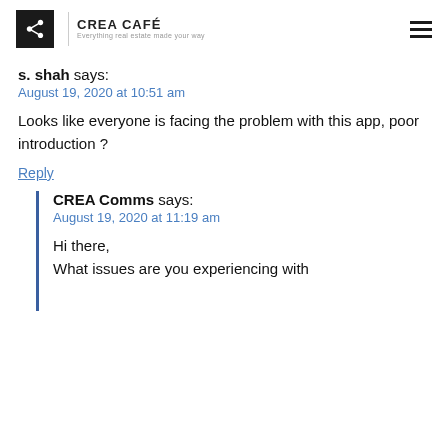CREA CAFÉ | Everything real estate made your way
s. shah says:
August 19, 2020 at 10:51 am
Looks like everyone is facing the problem with this app, poor introduction ?
Reply
CREA Comms says:
August 19, 2020 at 11:19 am
Hi there,
What issues are you experiencing with